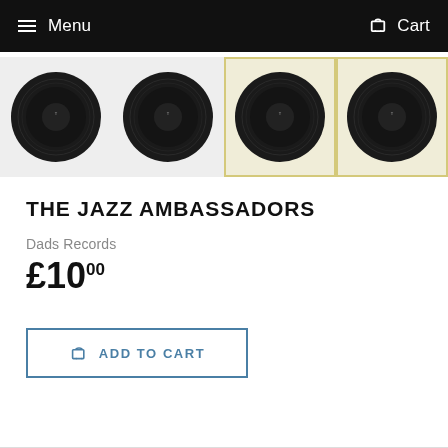Menu   Cart
[Figure (photo): Four thumbnail images of vinyl records (black discs with label in center) shown in a horizontal row. The third and fourth thumbnails have a yellowish/cream background.]
THE JAZZ AMBASSADORS
Dads Records
£10.00
[ ADD TO CART